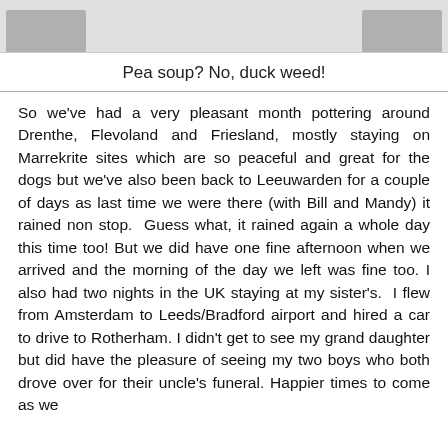[Figure (photo): Top banner area with two image thumbnails on left and right, gray background]
Pea soup? No, duck weed!
So we’ve had a very pleasant month pottering around Drenthe, Flevoland and Friesland, mostly staying on Marrekrite sites which are so peaceful and great for the dogs but we’ve also been back to Leeuwarden for a couple of days as last time we were there (with Bill and Mandy) it rained non stop. Guess what, it rained again a whole day this time too! But we did have one fine afternoon when we arrived and the morning of the day we left was fine too. I also had two nights in the UK staying at my sister’s. I flew from Amsterdam to Leeds/Bradford airport and hired a car to drive to Rotherham. I didn’t get to see my grand daughter but did have the pleasure of seeing my two boys who both drove over for their uncle’s funeral. Happier times to come as we